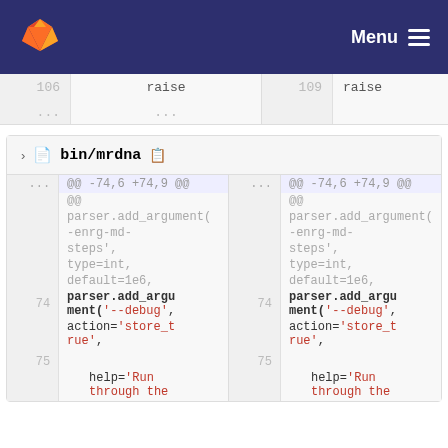GitLab Menu
| line | code | line | code |
| --- | --- | --- | --- |
| 106 | raise | 109 | raise |
| ... | ... |  |  |
bin/mrdna
| line | code (left) | line | code (right) |
| --- | --- | --- | --- |
| ... | @@ -74,6 +74,9 @@ | ... | @@ -74,6 +74,9 @@ |
|  | @@ |  | @@ |
|  | parser.add_argument( |  | parser.add_argument( |
|  | -enrg-md- |  | -enrg-md- |
|  | steps', |  | steps', |
|  | type=int, |  | type=int, |
|  | default=1e6, |  | default=1e6, |
| 74 | parser.add_argument('--debug', | 74 | parser.add_argument('--debug', |
|  | action='store_true', |  | action='store_true', |
| 75 |  | 75 |  |
|  | help='Run through the |  | help='Run through the |